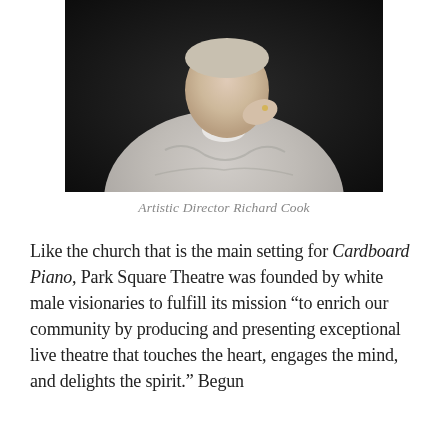[Figure (photo): Photo of Artistic Director Richard Cook, a man in a gray sweater with hand raised near chin, against a dark background]
Artistic Director Richard Cook
Like the church that is the main setting for Cardboard Piano, Park Square Theatre was founded by white male visionaries to fulfill its mission “to enrich our community by producing and presenting exceptional live theatre that touches the heart, engages the mind, and delights the spirit.” Begun